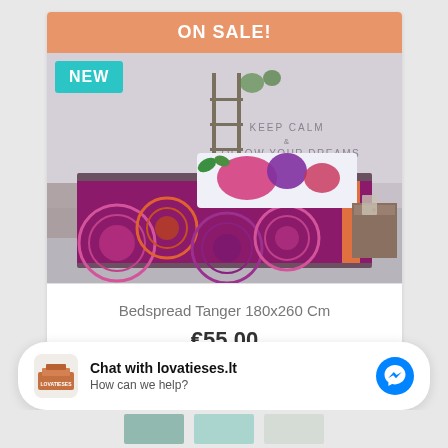[Figure (photo): Product card showing a colorful bedspread (Tanger) on a bed in a bedroom setting. Card has an orange 'ON SALE!' banner at top and a teal 'NEW' badge on the product image.]
Bedspread Tanger 180x260 Cm
€55.00
[Figure (other): Chat widget with lovatieses.lt logo, text 'Chat with lovatieses.lt' and 'How can we help?', and a blue Messenger icon button.]